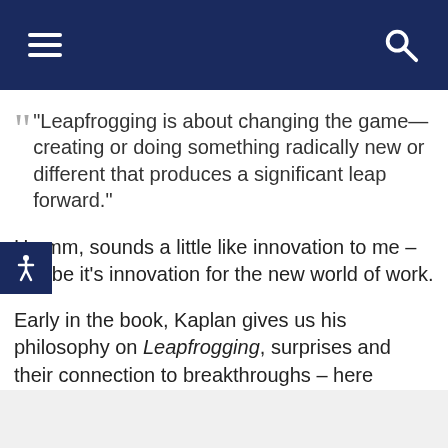Navigation bar with hamburger menu and search icon
“Leapfrogging is about changing the game—creating or doing something radically new or different that produces a significant leap forward.”
Hmmm, sounds a little like innovation to me – maybe it’s innovation for the new world of work.
Early in the book, Kaplan gives us his philosophy on Leapfrogging, surprises and their connection to breakthroughs – here